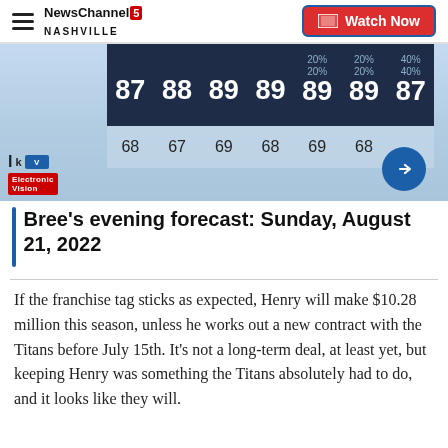NewsChannel 5 NASHVILLE | Watch Now
[Figure (screenshot): Weather forecast widget showing 7-day high temperatures (87, 88, 89, 89, 89, 89, 87) with precipitation percentages (20%, 20%, 20%, 40%) and low temperatures (68, 67, 69, 68, 69, 68) on a dark navy background with a blue sky backdrop.]
Bree's evening forecast: Sunday, August 21, 2022
If the franchise tag sticks as expected, Henry will make $10.28 million this season, unless he works out a new contract with the Titans before July 15th. It’s not a long-term deal, at least yet, but keeping Henry was something the Titans absolutely had to do, and it looks like they will.